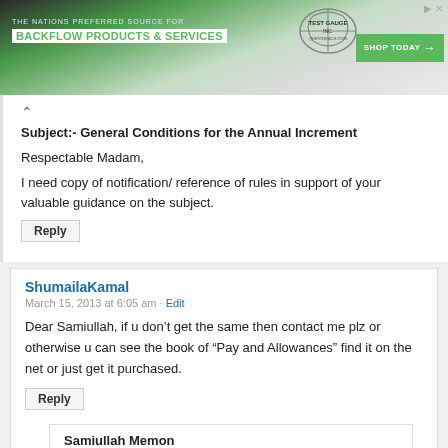[Figure (screenshot): Advertisement banner for Test Gauge Inc. - The Nations Preferred Source for Backflow Products & Services with Shop Today button]
Subject:- General Conditions for the Annual Increment
Respectable Madam,
I need copy of notification/ reference of rules in support of your valuable guidance on the subject.
Reply
ShumailaKamal
March 15, 2013 at 6:05 am · Edit
Dear Samiullah, if u don't get the same then contact me plz or otherwise u can see the book of "Pay and Allowances" find it on the net or just get it purchased.
Reply
Samiullah Memon